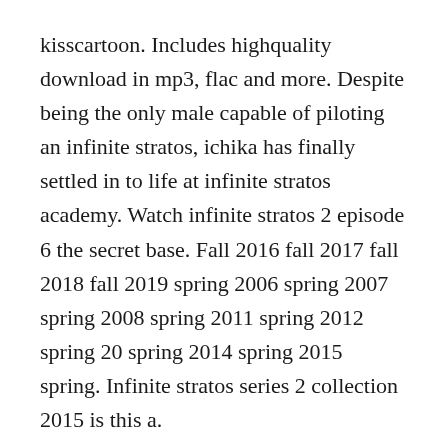kisscartoon. Includes highquality download in mp3, flac and more. Despite being the only male capable of piloting an infinite stratos, ichika has finally settled in to life at infinite stratos academy. Watch infinite stratos 2 episode 6 the secret base. Fall 2016 fall 2017 fall 2018 fall 2019 spring 2006 spring 2007 spring 2008 spring 2011 spring 2012 spring 20 spring 2014 spring 2015 spring. Infinite stratos series 2 collection 2015 is this a.
Archetype breaker english version is process for pc download janaury. Infinite stratos 2 dub